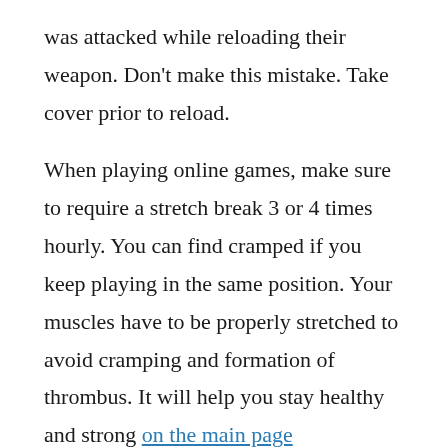was attacked while reloading their weapon. Don't make this mistake. Take cover prior to reload.
When playing online games, make sure to require a stretch break 3 or 4 times hourly. You can find cramped if you keep playing in the same position. Your muscles have to be properly stretched to avoid cramping and formation of thrombus. It will help you stay healthy and strong on the main page